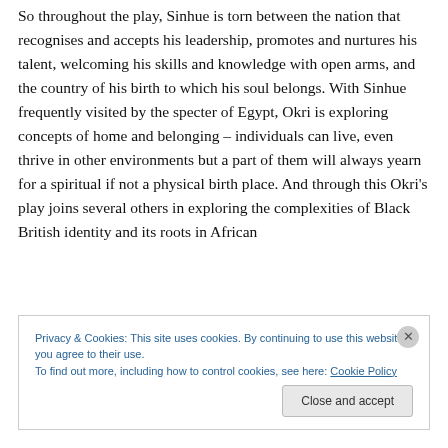So throughout the play, Sinhue is torn between the nation that recognises and accepts his leadership, promotes and nurtures his talent, welcoming his skills and knowledge with open arms, and the country of his birth to which his soul belongs. With Sinhue frequently visited by the specter of Egypt, Okri is exploring concepts of home and belonging – individuals can live, even thrive in other environments but a part of them will always yearn for a spiritual if not a physical birth place. And through this Okri's play joins several others in exploring the complexities of Black British identity and its roots in African
Privacy & Cookies: This site uses cookies. By continuing to use this website, you agree to their use.
To find out more, including how to control cookies, see here: Cookie Policy